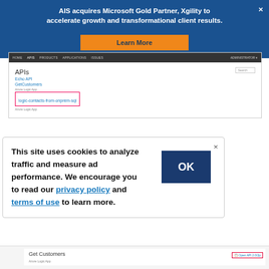[Figure (screenshot): Banner ad: 'AIS acquires Microsoft Gold Partner, Xgility to accelerate growth and transformational client results.' with orange 'Learn More' button on dark blue background, with X close button.]
[Figure (screenshot): Azure API Management portal screenshot showing APIs list with Echo API, GetCustomers, and logic-contacts-from-onprem-sql highlighted with a red border.]
[Figure (screenshot): Cookie consent popup: 'This site uses cookies to analyze traffic and measure ad performance. We encourage you to read our privacy policy and terms of use to learn more.' with OK button and X close button.]
[Figure (screenshot): Bottom strip of Azure API Management portal showing 'Get Customers' API entry with 'Open API 2.0/2p' button highlighted in red border.]